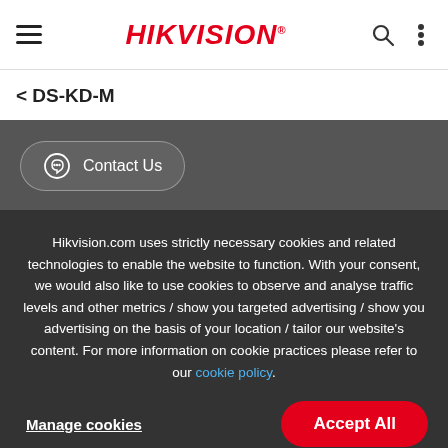HIKVISION
< DS-KD-M
Contact Us
Hikvision.com uses strictly necessary cookies and related technologies to enable the website to function. With your consent, we would also like to use cookies to observe and analyse traffic levels and other metrics / show you targeted advertising / show you advertising on the basis of your location / tailor our website's content. For more information on cookie practices please refer to our cookie policy.
Manage cookies
Accept All